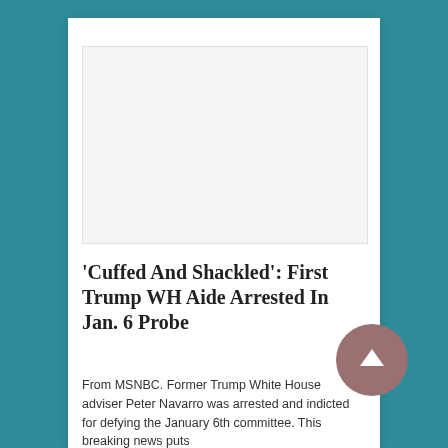[Figure (photo): Blank white image placeholder area]
‘Cuffed And Shackled’: First Trump WH Aide Arrested In Jan. 6 Probe
From MSNBC. Former Trump White House adviser Peter Navarro was arrested and indicted for defying the January 6th committee. This breaking news puts